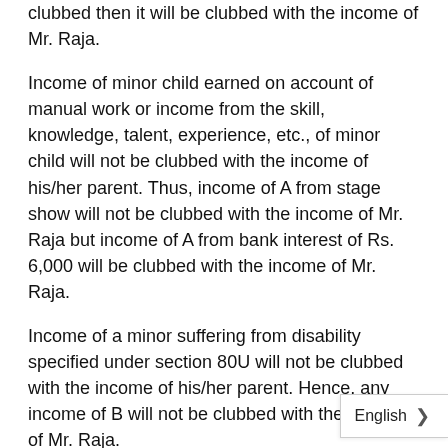clubbed then it will be clubbed with the income of Mr. Raja.
Income of minor child earned on account of manual work or income from the skill, knowledge, talent, experience, etc., of minor child will not be clubbed with the income of his/her parent. Thus, income of A from stage show will not be clubbed with the income of Mr. Raja but income of A from bank interest of Rs. 6,000 will be clubbed with the income of Mr. Raja.
Income of a minor suffering from disability specified under section 80U will not be clubbed with the income of his/her parent. Hence, any income of B will not be clubbed with the income of Mr. Raja.
The taxpayer can claim an exemption under section 10(32)). Thus, in respect of interest income of Rs. 6,000 clubbed in the income of Mr. Raja, he will be entitled to claim exemption of Rs. 1,500 under section 10(32)), hence, net income to be clubbed will be Rs. 4,500 (i.e., Rs. 6,000 – Rs.